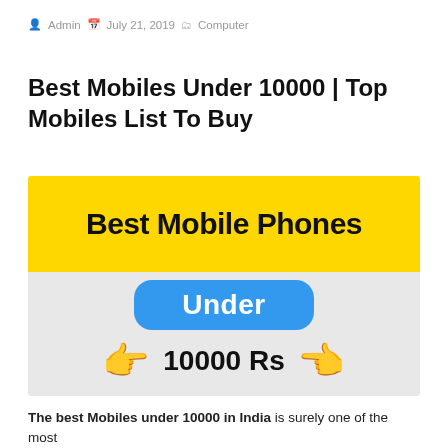Admin  July 21, 2019  Computer
Best Mobiles Under 10000 | Top Mobiles List To Buy
[Figure (infographic): Promotional banner image with yellow top section reading 'Best Mobile Phones', gray bottom section with blue rounded rectangle reading 'Under', and '10000 Rs' flanked by two pointing hand emojis.]
The best Mobiles under 10000 in India is surely one of the most